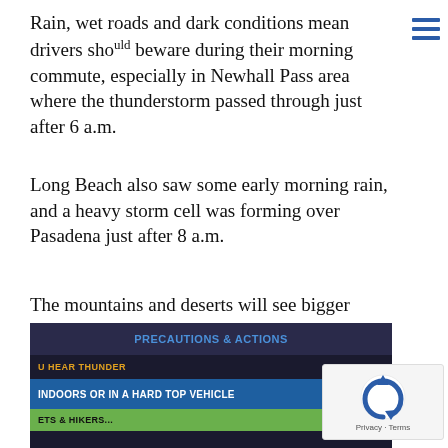Rain, wet roads and dark conditions mean drivers should beware during their morning commute, especially in Newhall Pass area where the thunderstorm passed through just after 6 a.m.
Long Beach also saw some early morning rain, and a heavy storm cell was forming over Pasadena just after 8 a.m.
The mountains and deserts will see bigger storms Wednesday afternoon, with the possibility of blowing dust in the deserts.
As temperatures cool down in the evening, the thunderstorms should dissipate as the heat disappears.
[Figure (screenshot): Screenshot of a weather precautions graphic with dark background showing 'PRECAUTIONS & ACTIONS', 'U HEAR THUNDER', 'INDOORS OR IN A HARD TOP VEHICLE', and partial green text row.]
[Figure (logo): reCAPTCHA logo with Privacy and Terms links]